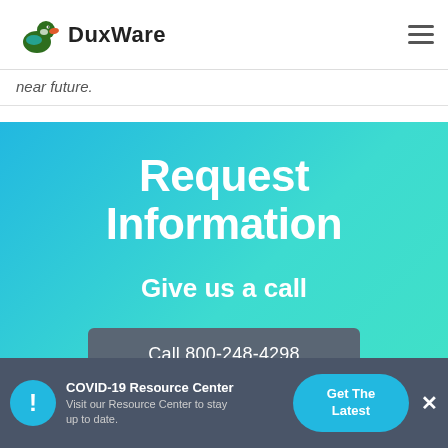DuxWare
near future.
Request Information
Give us a call
Call 800-248-4298
COVID-19 Resource Center
Visit our Resource Center to stay up to date.
Get The Latest